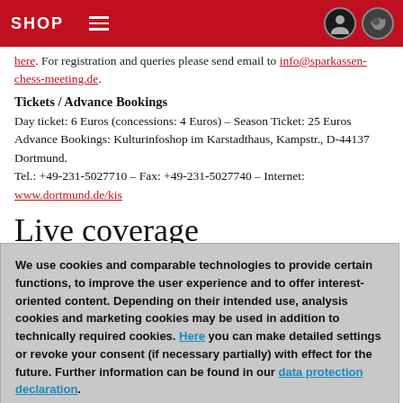SHOP
here. For registration and queries please send email to info@sparkassen-chess-meeting.de.
Tickets / Advance Bookings
Day ticket: 6 Euros (concessions: 4 Euros) – Season Ticket: 25 Euros
Advance Bookings: Kulturinfoshop im Karstadthaus, Kampstr., D-44137 Dortmund.
Tel.: +49-231-5027710 – Fax: +49-231-5027740 – Internet: www.dortmund.de/kis
Live coverage
We use cookies and comparable technologies to provide certain functions, to improve the user experience and to offer interest-oriented content. Depending on their intended use, analysis cookies and marketing cookies may be used in addition to technically required cookies. Here you can make detailed settings or revoke your consent (if necessary partially) with effect for the future. Further information can be found in our data protection declaration.